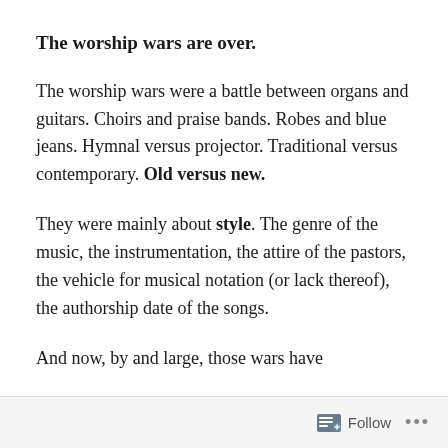The worship wars are over.
The worship wars were a battle between organs and guitars. Choirs and praise bands. Robes and blue jeans. Hymnal versus projector. Traditional versus contemporary. Old versus new.
They were mainly about style. The genre of the music, the instrumentation, the attire of the pastors, the vehicle for musical notation (or lack thereof), the authorship date of the songs.
And now, by and large, those wars have
Follow ...